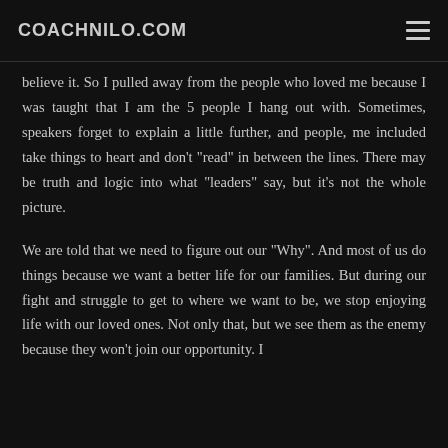COACHNILO.COM
believe it. So I pulled away from the people who loved me because I was taught that I am the 5 people I hang out with. Sometimes, speakers forget to explain a little further, and people, me included take things to heart and don't "read" in between the lines. There may be truth and logic into what "leaders" say, but it's not the whole picture.
We are told that we need to figure out our "Why". And most of us do things because we want a better life for our families. But during our fight and struggle to get to where we want to be, we stop enjoying life with our loved ones. Not only that, but we see them as the enemy because they won't join our opportunity. I